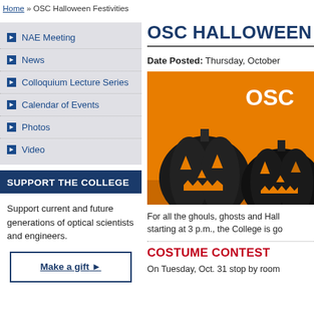Home » OSC Halloween Festivities
NAE Meeting
News
Colloquium Lecture Series
Calendar of Events
Photos
Video
SUPPORT THE COLLEGE
Support current and future generations of optical scientists and engineers.
Make a gift ▶
OSC HALLOWEEN
Date Posted:  Thursday, October
[Figure (illustration): Two jack-o-lanterns on an orange background with the text OSC in white]
For all the ghouls, ghosts and Hall starting at 3 p.m., the College is go
COSTUME CONTEST
On Tuesday, Oct. 31 stop by room